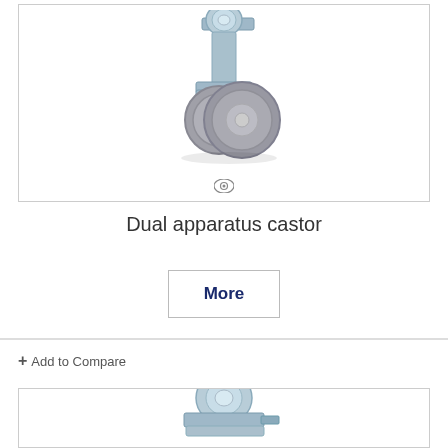[Figure (photo): Dual apparatus castor product photo - a twin-wheeled grey rubber castor with metal bolt hole mounting bracket, viewed from side angle]
Dual apparatus castor
More
+ Add to Compare
[Figure (photo): Partial view of a second castor product at bottom of page]